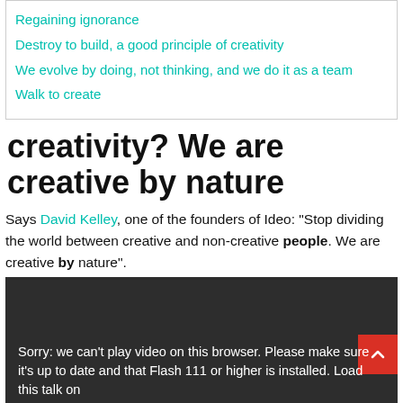Regaining ignorance
Destroy to build, a good principle of creativity
We evolve by doing, not thinking, and we do it as a team
Walk to create
creativity? We are creative by nature
Says David Kelley, one of the founders of Ideo: "Stop dividing the world between creative and non-creative people. We are creative by nature".
[Figure (screenshot): Dark video player block with error message: Sorry: we can't play video on this browser. Please make sure it's up to date and that Flash 111 or higher is installed. Load this talk on and a red scroll-to-top button with an up arrow.]